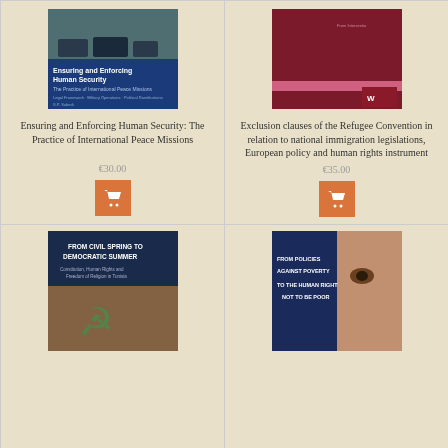[Figure (illustration): Book cover: Ensuring and Enforcing Human Security: The Practice of International Peace Missions - blue cover with photo of vehicles]
Ensuring and Enforcing Human Security: The Practice of International Peace Missions
€30.00
[Figure (illustration): Shopping cart button (orange square with white cart icon)]
[Figure (illustration): Book cover: Exclusion clauses of the Refugee Convention - dark red/maroon cover]
Exclusion clauses of the Refugee Convention in relation to national immigration legislations, European policy and human rights instrument
€35.00
[Figure (illustration): Shopping cart button (orange square with white cart icon)]
[Figure (illustration): Book cover: From Civil Spring to Democratic Summer - dark blue cover with hammer and sickle graffiti photo]
[Figure (illustration): Book cover: From Policies Against Poverty to the Human Right Not to Be Poor - dark blue cover with child's face photo]